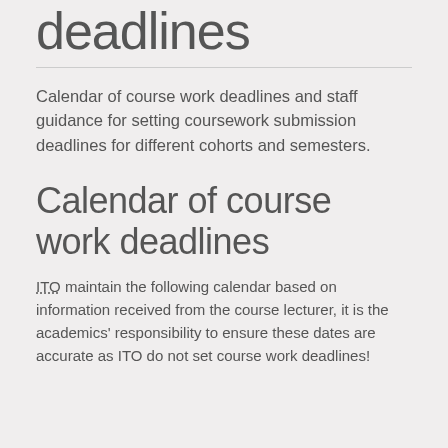deadlines
Calendar of course work deadlines and staff guidance for setting coursework submission deadlines for different cohorts and semesters.
Calendar of course work deadlines
ITO maintain the following calendar based on information received from the course lecturer, it is the academics' responsibility to ensure these dates are accurate as ITO do not set course work deadlines!